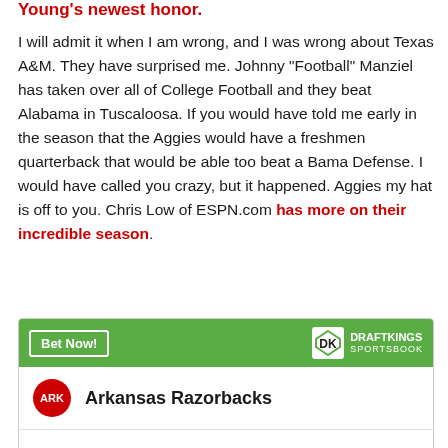Young's newest honor.
I will admit it when I am wrong, and I was wrong about Texas A&M. They have surprised me. Johnny "Football" Manziel has taken over all of College Football and they beat Alabama in Tuscaloosa. If you would have told me early in the season that the Aggies would have a freshmen quarterback that would be able too beat a Bama Defense. I would have called you crazy, but it happened. Aggies my hat is off to you. Chris Low of ESPN.com has more on their incredible season.
[Figure (other): DraftKings Sportsbook widget showing Arkansas Razorbacks betting option with green header bar containing Bet Now button and DraftKings logo]